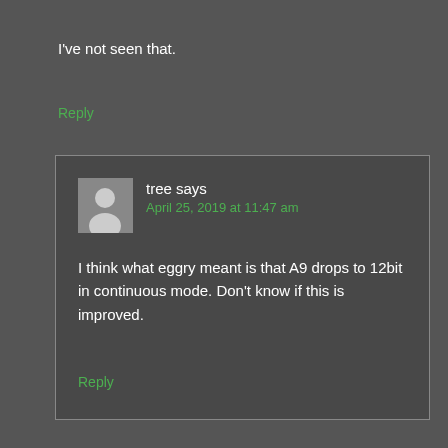I've not seen that.
Reply
tree says
April 25, 2019 at 11:47 am
I think what eggry meant is that A9 drops to 12bit in continuous mode. Don't know if this is improved.
Reply